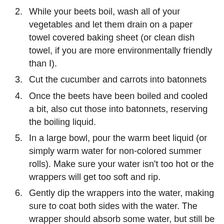2. While your beets boil, wash all of your vegetables and let them drain on a paper towel covered baking sheet (or clean dish towel, if you are more environmentally friendly than I).
3. Cut the cucumber and carrots into batonnets
4. Once the beets have been boiled and cooled a bit, also cut those into batonnets, reserving the boiling liquid.
5. In a large bowl, pour the warm beet liquid (or simply warm water for non-colored summer rolls). Make sure your water isn't too hot or the wrappers will get too soft and rip.
6. Gently dip the wrappers into the water, making sure to coat both sides with the water. The wrapper should absorb some water, but still be firm. The wrapper will continue to absorb water as you work, and soften. Remember, you can always dab a little more water if